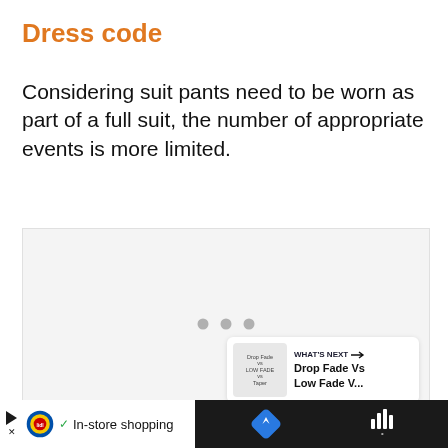Dress code
Considering suit pants need to be worn as part of a full suit, the number of appropriate events is more limited.
[Figure (other): Loading placeholder area with three grey dots indicating content is loading, with a heart/like button, a share button, and a 'What's Next' card showing 'Drop Fade Vs Low Fade V...']
[Figure (other): Advertisement bar at bottom: Lidl ad with play button, checkmark, 'In-store shopping' text, blue diamond navigation icon, and audio/signal bars icon on dark background]